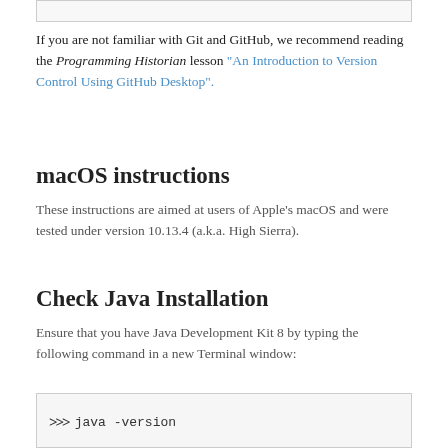If you are not familiar with Git and GitHub, we recommend reading the Programming Historian lesson "An Introduction to Version Control Using GitHub Desktop".
macOS instructions
These instructions are aimed at users of Apple's macOS and were tested under version 10.13.4 (a.k.a. High Sierra).
Check Java Installation
Ensure that you have Java Development Kit 8 by typing the following command in a new Terminal window:
[Figure (screenshot): Terminal code box showing: >>> java -version]